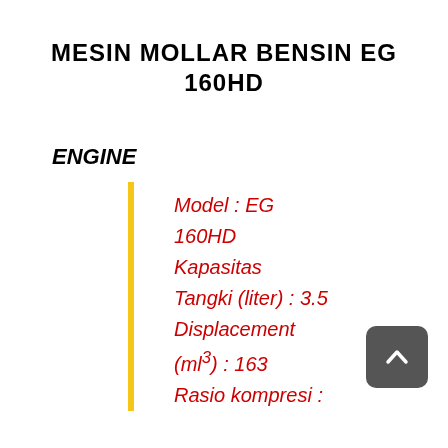MESIN MOLLAR BENSIN EG 160HD
ENGINE
Model : EG 160HD
Kapasitas Tangki (liter) : 3.5
Displacement (ml³) : 163
Rasio kompresi :